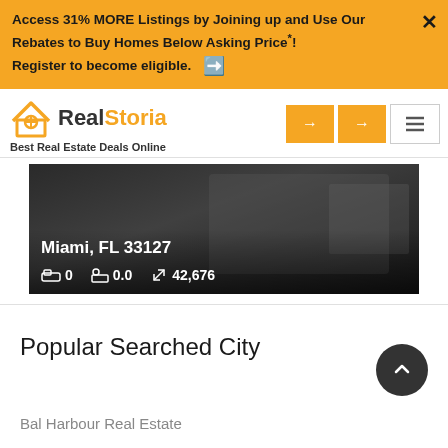Access 31% MORE Listings by Joining up and Use Our Rebates to Buy Homes Below Asking Price*! Register to become eligible.
[Figure (screenshot): RealStoria logo with house icon and navigation buttons]
[Figure (photo): Property listing photo showing Miami, FL 33127 with 0 beds, 0.0 baths, 42,676 sqft]
Popular Searched City
Bal Harbour Real Estate